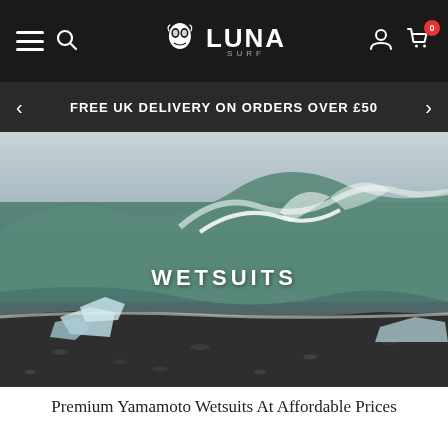Luna Surf – Navigation bar with hamburger menu, search, logo, account and cart (0 items)
FREE UK DELIVERY ON ORDERS OVER £50
[Figure (photo): Dramatic ocean wave scene on a black-sand beach with chunks of ice in the foreground, overcast sky. Text overlay reads WETSUITS in bold white capital letters.]
Premium Yamamoto Wetsuits At Affordable Prices